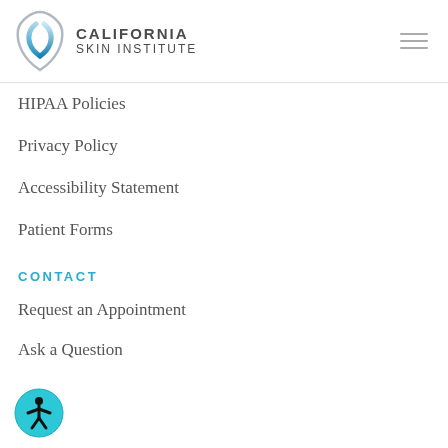[Figure (logo): California Skin Institute logo with stylized blue/silver leaf icon and text CALIFORNIA SKIN INSTITUTE]
HIPAA Policies
Privacy Policy
Accessibility Statement
Patient Forms
CONTACT
Request an Appointment
Ask a Question
[Figure (illustration): Accessibility icon button — teal circle with person figure inside]